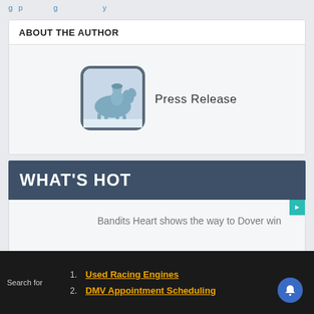ABOUT THE AUTHOR
[Figure (illustration): Horse racing jockey silhouette icon — rounded square icon with blue-grey background showing a jockey on horseback]
Press Release
WHAT'S HOT
Bandits Heart shows the way to Dover win
1. Used Racing Engines
2. DMV Appointment Scheduling
Search for